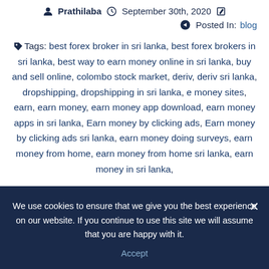Prathilaba  September 30th, 2020
Posted In: blog
Tags: best forex broker in sri lanka, best forex brokers in sri lanka, best way to earn money online in sri lanka, buy and sell online, colombo stock market, deriv, deriv sri lanka, dropshipping, dropshipping in sri lanka, e money sites, earn, earn money, earn money app download, earn money apps in sri lanka, Earn money by clicking ads, Earn money by clicking ads sri lanka, earn money doing surveys, earn money from home, earn money from home sri lanka, earn money in sri lanka,
We use cookies to ensure that we give you the best experience on our website. If you continue to use this site we will assume that you are happy with it. Accept